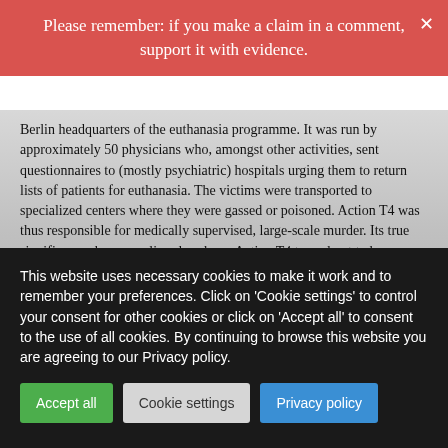Please remember: if you make a claim in a comment, support it with evidence.
Berlin headquarters of the euthanasia programme. It was run by approximately 50 physicians who, amongst other activities, sent questionnaires to (mostly psychiatric) hospitals urging them to return lists of patients for euthanasia. The victims were transported to specialized centers where they were gassed or poisoned. Action T4 was thus responsible for medically supervised, large-scale murder. Its true significance, however, lies elsewhere. Action T4 turned out to be nothing less than a “pilot project” for the extinction of millions of prisoners of the concentration camps.
The T4 units had developed the technology for killing on an industrial scale. It was only with this know-how that the total extinction of all Jews of the Reich could be planned. This truly
This website uses necessary cookies to make it work and to remember your preferences. Click on 'Cookie settings' to control your consent for other cookies or click on 'Accept all' to consent to the use of all cookies. By continuing to browse this website you are agreeing to our Privacy policy.